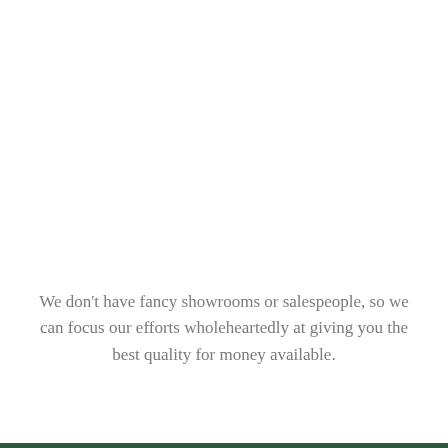We don't have fancy showrooms or salespeople, so we can focus our efforts wholeheartedly at giving you the best quality for money available.